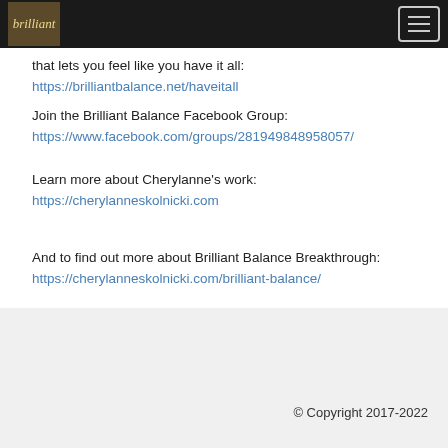[Brilliant Balance logo] [hamburger menu]
that lets you feel like you have it all:
https://brilliantbalance.net/haveitall
Join the Brilliant Balance Facebook Group:
https://www.facebook.com/groups/281949848958057/
Learn more about Cherylanne's work:
https://cherylanneskolnicki.com
And to find out more about Brilliant Balance Breakthrough:
https://cherylanneskolnicki.com/brilliant-balance/
© Copyright 2017-2022